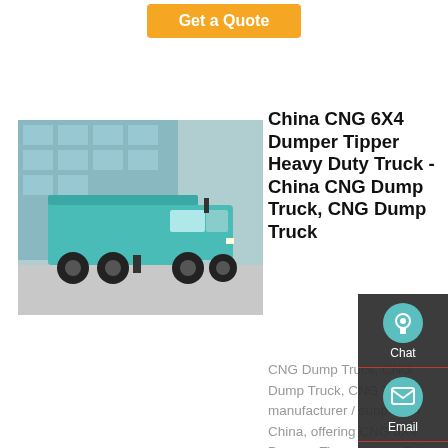Get a Quote
[Figure (photo): Teal/green heavy-duty dump truck (6x4 configuration) parked in front of a building with glass facade.]
China CNG 6X4 Dumper Tipper Heavy Duty Truck - China CNG Dump Truck, CNG Dump Truck
CNG Dump Truck, CNG Dump Truck, CNG Tipper manufacturer / supplier in China, offering CNG 6X4 Dumper Tipper Heavy Duty Truck, Self Propelled Concrete Mixer, Camc Bulk Cement Truck6X4 30m3 310HP Tanker and so on.
Chat
Email
Contact
Top